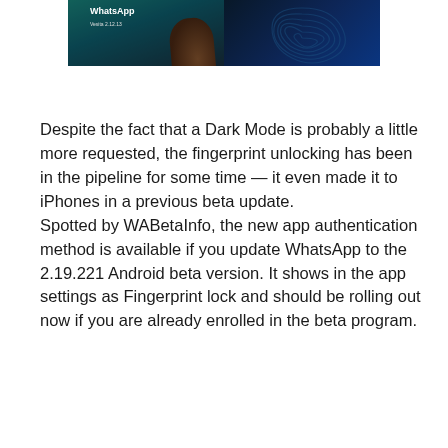[Figure (photo): Two smartphones side by side: left showing WhatsApp app with teal background and version text, right showing a dark blue fingerprint/touch ID screen]
Despite the fact that a Dark Mode is probably a little more requested, the fingerprint unlocking has been in the pipeline for some time — it even made it to iPhones in a previous beta update. Spotted by WABetaInfo, the new app authentication method is available if you update WhatsApp to the 2.19.221 Android beta version. It shows in the app settings as Fingerprint lock and should be rolling out now if you are already enrolled in the beta program.